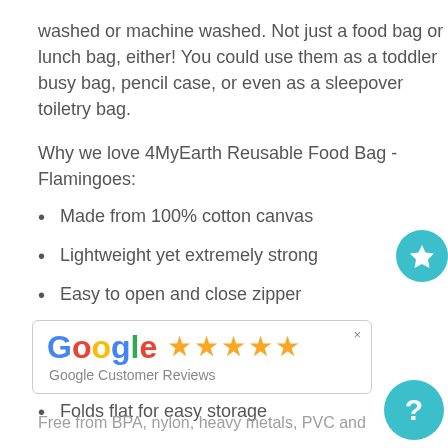washed or machine washed. Not just a food bag or lunch bag, either! You could use them as a toddler busy bag, pencil case, or even as a sleepover toiletry bag.
Why we love 4MyEarth Reusable Food Bag - Flamingoes:
Made from 100% cotton canvas
Lightweight yet extremely strong
Easy to open and close zipper
Can be stored in the fridge or freezer
Food derived inner coating
Folds flat for easy storage
[Figure (other): Google Customer Reviews widget with G logo and 5 gold stars]
Free from BPA, nylon, heavy metals, PVC and phthalates